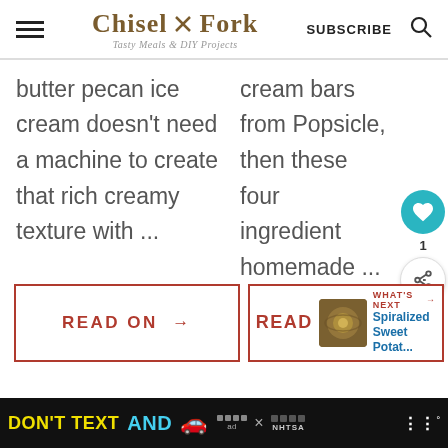Chisel & Fork — Tasty Meals & DIY Projects — SUBSCRIBE
butter pecan ice cream doesn't need a machine to create that rich creamy texture with ...
cream bars from Popsicle, then these four ingredient homemade ...
READ ON →
READ — WHAT'S NEXT → Spiralized Sweet Potat...
[Figure (infographic): DON'T TEXT AND [car emoji] ad banner with NHTSA logo]